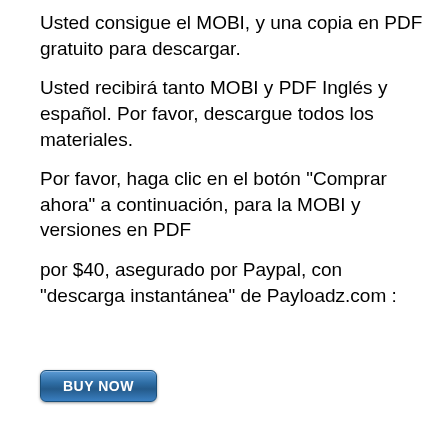Usted consigue el MOBI, y una copia en PDF gratuito para descargar.
Usted recibirá tanto MOBI y PDF Inglés y español. Por favor, descargue todos los materiales.
Por favor, haga clic en el botón "Comprar ahora" a continuación, para la MOBI y versiones en PDF
por $40, asegurado por Paypal, con "descarga instantánea" de Payloadz.com :
[Figure (other): A blue 'BUY NOW' button with rounded corners and gradient styling]